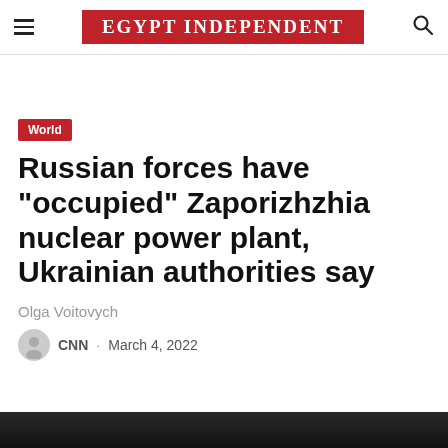EGYPT INDEPENDENT
World
Russian forces have “occupied” Zaporizhzhia nuclear power plant, Ukrainian authorities say
Olga Voitovych
CNN · March 4, 2022
[Figure (photo): Dark image strip at bottom of page, partially visible photograph]